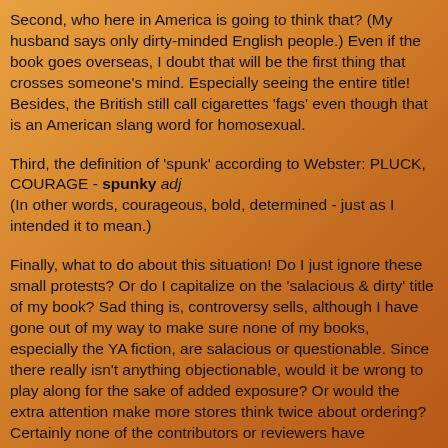Second, who here in America is going to think that? (My husband says only dirty-minded English people.) Even if the book goes overseas, I doubt that will be the first thing that crosses someone's mind. Especially seeing the entire title! Besides, the British still call cigarettes 'fags' even though that is an American slang word for homosexual.
Third, the definition of 'spunk' according to Webster: PLUCK, COURAGE - spunky adj
(In other words, courageous, bold, determined - just as I intended it to mean.)
Finally, what to do about this situation! Do I just ignore these small protests? Or do I capitalize on the 'salacious & dirty' title of my book? Sad thing is, controversy sells, although I have gone out of my way to make sure none of my books, especially the YA fiction, are salacious or questionable. Since there really isn't anything objectionable, would it be wrong to play along for the sake of added exposure? Or would the extra attention make more stores think twice about ordering? Certainly none of the contributors or reviewers have protested! Obviously Quality Books didn't mind the title...